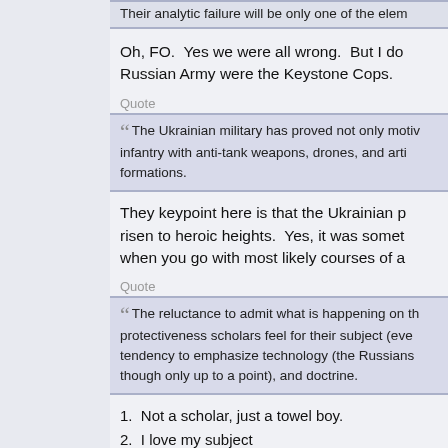Their analytic failure will be only one of the elem
Oh, FO.  Yes we were all wrong.  But I do Russian Army were the Keystone Cops.
Quote
The Ukrainian military has proved not only motiv infantry with anti-tank weapons, drones, and arti formations.
They keypoint here is that the Ukrainian p risen to heroic heights.  Yes, it was somet when you go with most likely courses of a
Quote
The reluctance to admit what is happening on th protectiveness scholars feel for their subject (eve tendency to emphasize technology (the Russians though only up to a point), and doctrine.
1.  Not a scholar, just a towel boy.
2.  I love my subject
3. The emphasis was on the following